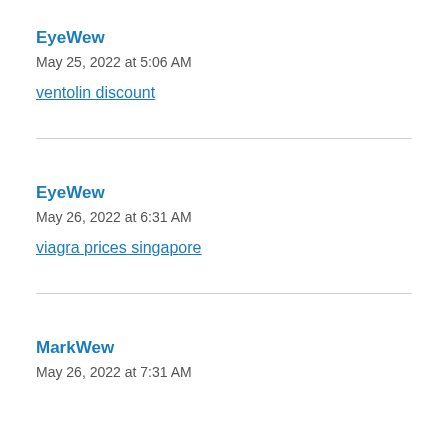EyeWew
May 25, 2022 at 5:06 AM
ventolin discount
EyeWew
May 26, 2022 at 6:31 AM
viagra prices singapore
MarkWew
May 26, 2022 at 7:31 AM